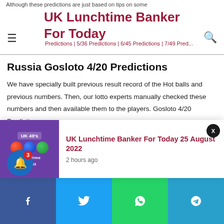UK Lunchtime Banker For Today
Although these predictions are just based on tips on some patterns...
Russia Gosloto 4/20 Predictions
We have specially built previous result record of the Hot balls and previous numbers. Then, our lotto experts manually checked these numbers and then available them to the players. Gosloto 4/20 Predictions
Some players are looking gosloto 4/20 predictions. These predictions will make it easy to win the next 4/20 results. Simply mix these numbers with their own numbers. On the basis of previous... t predicted...
[Figure (screenshot): Notification popup showing UK 49's Lunchtime Result image with text: UK Lunchtime Banker For Today 25 August 2022, 2 hours ago]
Facebook | Twitter | WhatsApp | Telegram social share buttons